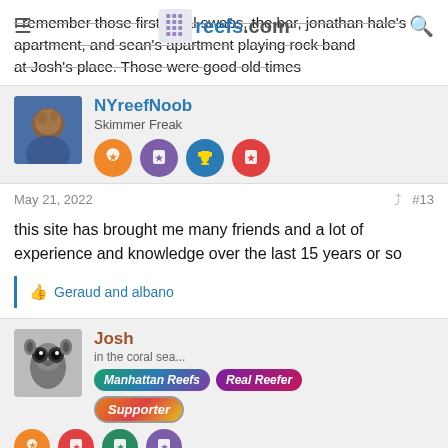I remember those first coral swaps, the bar, jonathan hale's apartment, and sean's apartment playing rock band at Josh's place. Those were good old times
NYreefNoob
Skimmer Freak
May 21, 2022  #13
this site has brought me many friends and a lot of experience and knowledge over the last 15 years or so
Geraud and albano
Josh
in the coral sea...
Manhattan Reefs  Real Reefer
Supporter